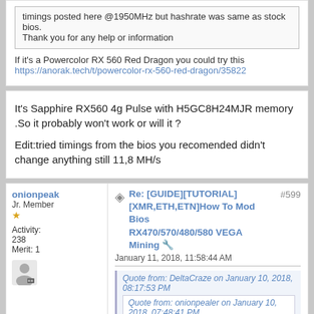timings posted here @1950MHz but hashrate was same as stock bios.
Thank you for any help or information
If it's a Powercolor RX 560 Red Dragon you could try this https://anorak.tech/t/powercolor-rx-560-red-dragon/35822
It's Sapphire RX560 4g Pulse with H5GC8H24MJR memory .So it probably won't work or will it ?
Edit:tried timings from the bios you recomended didn't change anything still 11,8 MH/s
onionpealer
Jr. Member
Activity: 238
Merit: 1
Re: [GUIDE][TUTORIAL][XMR,ETH,ETN]How To Mod Bios RX470/570/480/580 VEGA Mining 🔧
January 11, 2018, 11:58:44 AM
#599
Quote from: DeltaCraze on January 10, 2018, 08:17:53 PM
Quote from: onionpealer on January 10, 2018, 07:48:41 PM
Quote from: DeltaCraze on January 10, 2018, 04:19:42 AM
Hello, I need help with rx560 4Gb hynix memory. No matter what i do i can't get it past 11,8 MH/s. Tried timings posted here @1950MHz but hashrate was same as stock bios.
Thank you for any help or information